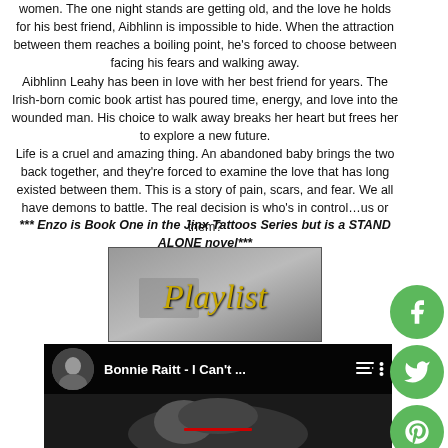women. The one night stands are getting old, and the love he holds for his best friend, Aibhlinn is impossible to hide. When the attraction between them reaches a boiling point, he's forced to choose between facing his fears and walking away. Aibhlinn Leahy has been in love with her best friend for years. The Irish-born comic book artist has poured time, energy, and love into the wounded man. His choice to walk away breaks her heart but frees her to explore a new future. Life is a cruel and amazing thing. An abandoned baby brings the two back together, and they're forced to examine the love that has long existed between them. This is a story of pain, scars, and fear. We all have demons to battle. The real decision is who's in control…us or them?
*** Enzo is Book One in the Jinx Tattoos Series but is a STAND ALONE novel***
[Figure (photo): Decorative image with script text reading 'Playlist' in gold cursive font on a blurred book background]
[Figure (screenshot): YouTube video thumbnail showing 'Bonnie Raitt - I Can't ...' with play controls and a black and white portrait of a woman]